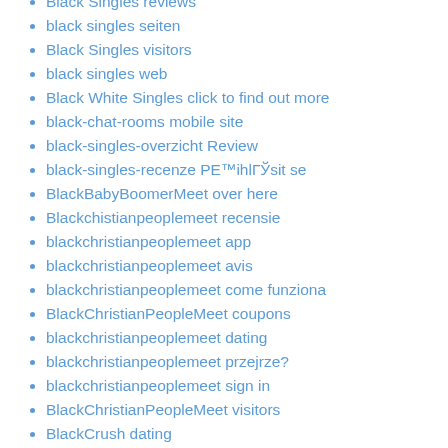Black Singles reviews
black singles seiten
Black Singles visitors
black singles web
Black White Singles click to find out more
black-chat-rooms mobile site
black-singles-overzicht Review
black-singles-recenze PE™ihlГЎsit se
BlackBabyBoomerMeet over here
Blackchistianpeoplemeet recensie
blackchristianpeoplemeet app
blackchristianpeoplemeet avis
blackchristianpeoplemeet come funziona
BlackChristianPeopleMeet coupons
blackchristianpeoplemeet dating
blackchristianpeoplemeet przejrze?
blackchristianpeoplemeet sign in
BlackChristianPeopleMeet visitors
BlackCrush dating
blackcrush reviews
blackcupid App
Blackcupid appli datemyage
blackcupid avis